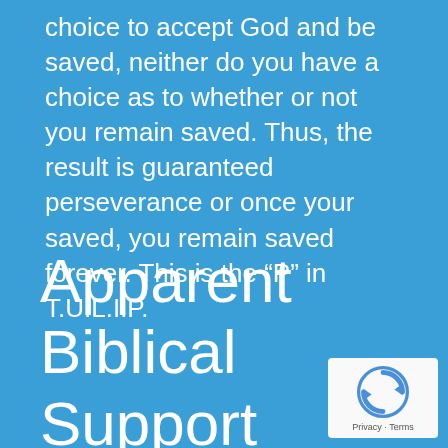choice to accept God and be saved, neither do you have a choice as to whether or not you remain saved. Thus, the result is guaranteed perseverance or once your saved, you remain saved forever. This is the “P” in T.U.L.I.P.
Apparent Biblical Support for Once Saved
[Figure (other): reCAPTCHA badge with circular arrow logo and Privacy - Terms text]